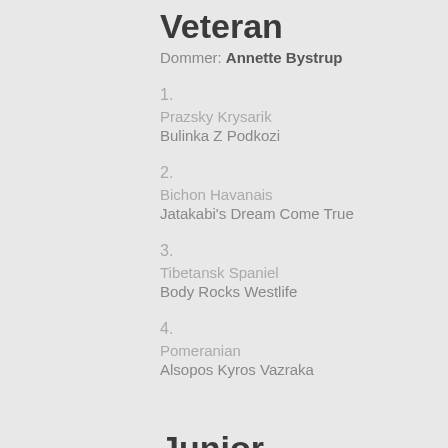Veteran
Dommer: Annette Bystrup
1.
Prazsky Krysarik
Bulinka Z Podkozi
2.
Bichon Havanais
Jatakabi's Dream Come True
3.
Tibetansk Spaniel
Body Rocks Westlife
4.
Pomeranian
Alsopos Kyros Vazraka
Junior
Dommer: Tamas Jakkel